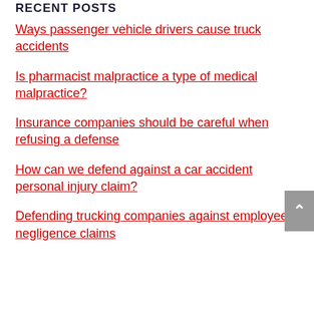RECENT POSTS
Ways passenger vehicle drivers cause truck accidents
Is pharmacist malpractice a type of medical malpractice?
Insurance companies should be careful when refusing a defense
How can we defend against a car accident personal injury claim?
Defending trucking companies against employee negligence claims